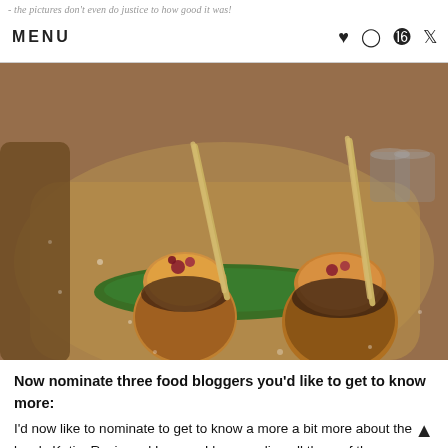- the pictures don't even do justice to how good it was!
MENU
[Figure (photo): Two seared scallops on skewers presented on a rustic ceramic plate with a green leaf garnish, decorated with edible flowers]
Now nominate three food bloggers you'd like to get to know more:
I'd now like to nominate to get to know a more a bit more about the lovely Katie, Rosie and Lauren. I love reading all three of these